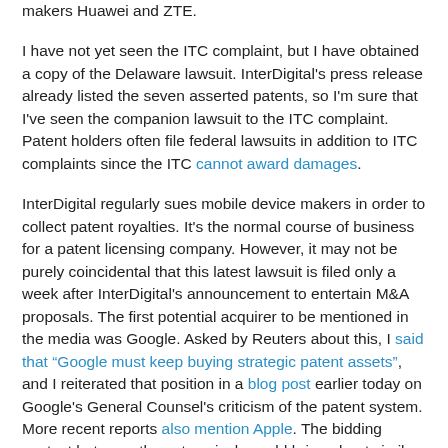makers Huawei and ZTE.
I have not yet seen the ITC complaint, but I have obtained a copy of the Delaware lawsuit. InterDigital's press release already listed the seven asserted patents, so I'm sure that I've seen the companion lawsuit to the ITC complaint. Patent holders often file federal lawsuits in addition to ITC complaints since the ITC cannot award damages.
InterDigital regularly sues mobile device makers in order to collect patent royalties. It's the normal course of business for a patent licensing company. However, it may not be purely coincidental that this latest lawsuit is filed only a week after InterDigital's announcement to entertain M&A proposals. The first potential acquirer to be mentioned in the media was Google. Asked by Reuters about this, I said that "Google must keep buying strategic patent assets", and I reiterated that position in a blog post earlier today on Google's General Counsel's criticism of the patent system. More recent reports also mention Apple. The bidding contest between those two rivals could bring about similar dynamics as the ones that drove up the price of Nortel's patent portfolio in a recent auction, but there are also important differences between a